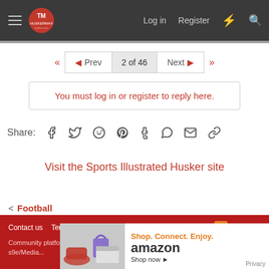HuskerMax — Log in | Register
◄◄  ◄ Prev  2 of 46  Next ►  ►►
You must log in or register to reply here.
Share: [Facebook] [Twitter] [Reddit] [Pinterest] [Tumblr] [WhatsApp] [Email] [Link]
Visit the Sports Illustrated Husker site
< Football
Contact us   Terms and rules   Privacy policy   Help   Home   [RSS]
Community platform by XenForo® © 2010-2022 XenForo Ltd. | Media embeds via s9e/Media...
[Figure (other): Amazon advertisement banner: Shop. Connect. Enjoy. amazon Shop now ► Privacy]